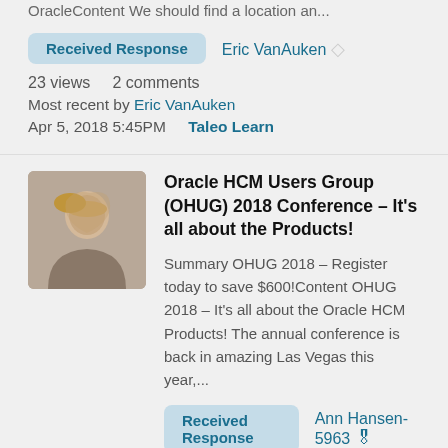OracleContent We should find a location an...
Received Response   Eric VanAuken
23 views   2 comments
Most recent by Eric VanAuken
Apr 5, 2018 5:45PM   Taleo Learn
[Figure (photo): Profile photo of a woman with blonde hair]
Oracle HCM Users Group (OHUG) 2018 Conference – It's all about the Products!
Summary OHUG 2018 – Register today to save $600!Content OHUG 2018 – It's all about the Oracle HCM Products! The annual conference is back in amazing Las Vegas this year,...
Received Response   Ann Hansen-5963
26 views   3 comments